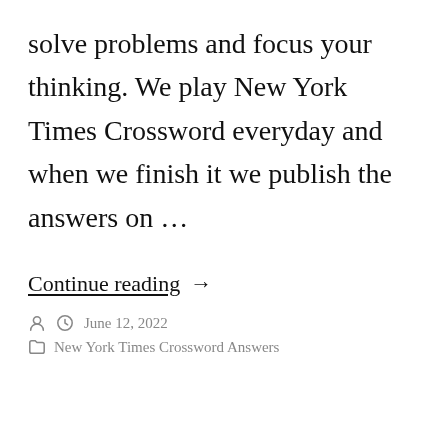solve problems and focus your thinking. We play New York Times Crossword everyday and when we finish it we publish the answers on …
Continue reading →
June 12, 2022
New York Times Crossword Answers